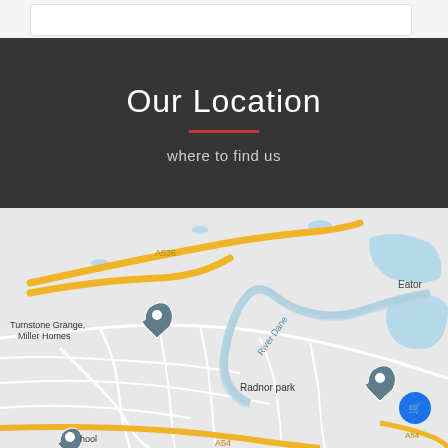[Figure (map): Google Maps screenshot showing Radnor Park area in Congleton, UK, with A536 road, River Dane, Turnstone Grange Miller Homes location pin, Radnor Park location pin, Tesco Superstore, A54 road, and Eaton visible]
Our Location
where to find us